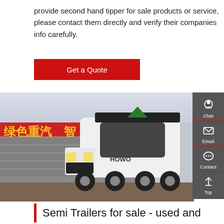provide second hand tipper for sale products or service, please contact them directly and verify their companies info carefully.
[Figure (other): Red 'Get a Quote' button]
[Figure (photo): White HOWO semi-truck cab parked in front of a red banner with Chinese text reading 国特色社会主 and 绿色重汽 智, with a teal strip. Stone wall and dirt ground visible.]
Semi Trailers for sale - used and